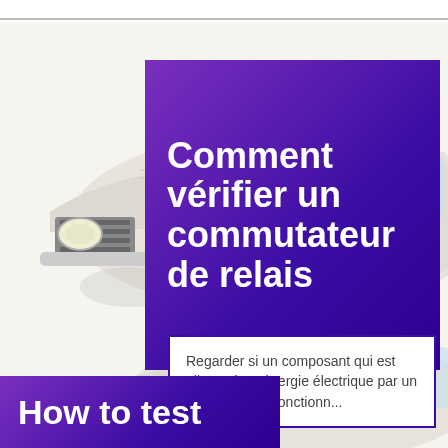[Figure (illustration): Illustrated front view of a classic car (white/cream color) with headlights and grille visible, serving as background image behind the title box. Repeated at bottom of page.]
Comment vérifier un commutateur de relais
Regarder si un composant qui est alimenté en énergie électrique par un relais (voir Le fonctionn...
How to test